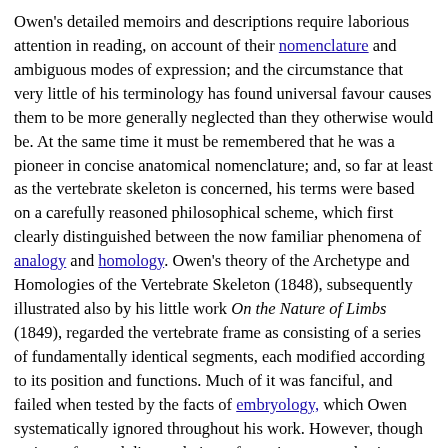Owen's detailed memoirs and descriptions require laborious attention in reading, on account of their nomenclature and ambiguous modes of expression; and the circumstance that very little of his terminology has found universal favour causes them to be more generally neglected than they otherwise would be. At the same time it must be remembered that he was a pioneer in concise anatomical nomenclature; and, so far at least as the vertebrate skeleton is concerned, his terms were based on a carefully reasoned philosophical scheme, which first clearly distinguished between the now familiar phenomena of analogy and homology. Owen's theory of the Archetype and Homologies of the Vertebrate Skeleton (1848), subsequently illustrated also by his little work On the Nature of Limbs (1849), regarded the vertebrate frame as consisting of a series of fundamentally identical segments, each modified according to its position and functions. Much of it was fanciful, and failed when tested by the facts of embryology, which Owen systematically ignored throughout his work. However, though an imperfect and distorted view of certain great truths, it possessed a distinct value at the time of its conception.
To the discussion of the deeper problems of biological philosophy he made scarcely any direct and definite contributions. His generalities rarely extended beyond strict comparative anatomy, the phenomena of adaptation to function, and the facts of geographical or geological distribution. His lecture on virgin reproduction or